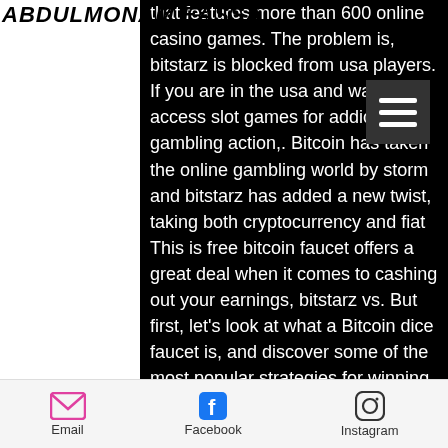ABDULMONAM EASSA
that features more than 600 online casino games. The problem is, bitstarz is blocked from usa players. If you are in the usa and want to access slot games for addicting gambling action,. Bitcoin has taken the online gambling world by storm and bitstarz has added a new twist, taking both cryptocurrency and fiat This is free bitcoin faucet offers a great deal when it comes to cashing out your earnings, bitstarz vs. But first, let's look at what a Bitcoin dice faucet is, and discover some of the most popular strategies for winning at Bitcoin dice, bitstarz online. In this article, we're going to be looking at 'Bitcoin Dice Faucets,' but what are they, and why do Bitcoin dice players love them so much? Certain Bitcoin Dice websites will give players a tiny amount of BTC, like a faucet would leak a little water, to
Email   Facebook   Instagram